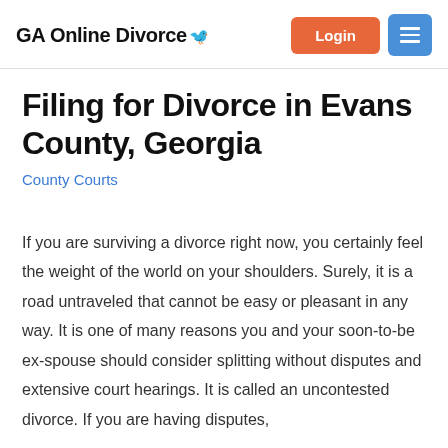GA Online Divorce
Filing for Divorce in Evans County, Georgia
County Courts
If you are surviving a divorce right now, you certainly feel the weight of the world on your shoulders. Surely, it is a road untraveled that cannot be easy or pleasant in any way. It is one of many reasons you and your soon-to-be ex-spouse should consider splitting without disputes and extensive court hearings. It is called an uncontested divorce. If you are having disputes,